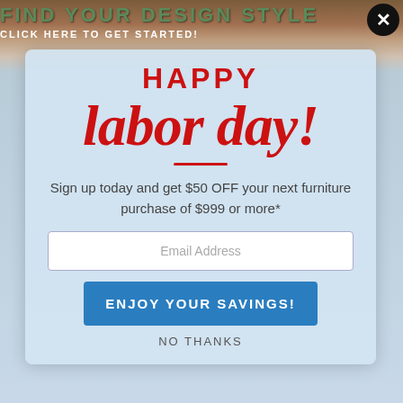FIND YOUR DESIGN STYLE
CLICK HERE TO GET STARTED!
HAPPY labor day!
Sign up today and get $50 OFF your next furniture purchase of $999 or more*
Email Address
ENJOY YOUR SAVINGS!
NO THANKS